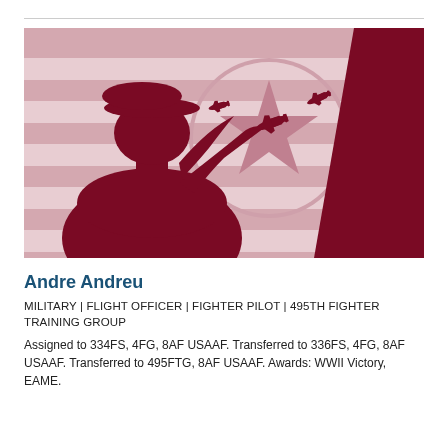[Figure (illustration): Decorative illustration showing a dark crimson silhouette of a military officer saluting, set against a background with horizontal stripes, a circular emblem with a star, and aircraft silhouettes. A large dark red diagonal banner element appears on the right side.]
Andre Andreu
MILITARY | FLIGHT OFFICER | FIGHTER PILOT | 495TH FIGHTER TRAINING GROUP
Assigned to 334FS, 4FG, 8AF USAAF. Transferred to 336FS, 4FG, 8AF USAAF. Transferred to 495FTG, 8AF USAAF. Awards: WWII Victory, EAME.